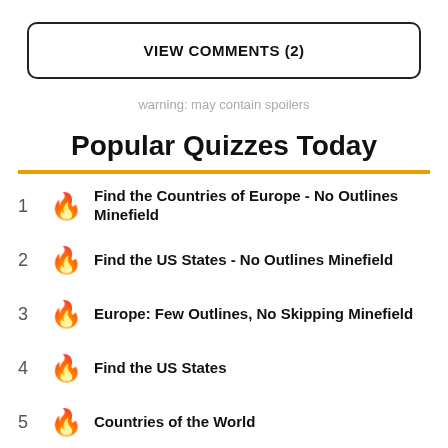VIEW COMMENTS (2)
warning: may contain spoilers
Popular Quizzes Today
Find the Countries of Europe - No Outlines Minefield
Find the US States - No Outlines Minefield
Europe: Few Outlines, No Skipping Minefield
Find the US States
Countries of the World